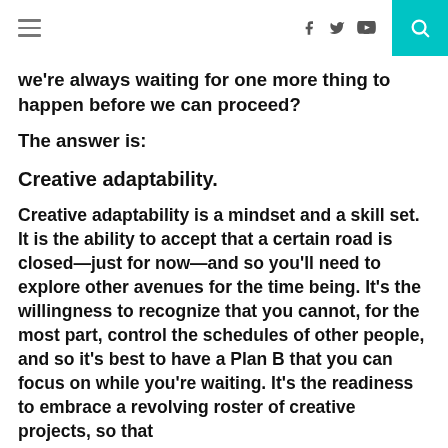navigation header with hamburger menu, social icons (f, twitter, youtube), and search button
we're always waiting for one more thing to happen before we can proceed?
The answer is:
Creative adaptability.
Creative adaptability is a mindset and a skill set. It is the ability to accept that a certain road is closed—just for now—and so you'll need to explore other avenues for the time being. It's the willingness to recognize that you cannot, for the most part, control the schedules of other people, and so it's best to have a Plan B that you can focus on while you're waiting. It's the readiness to embrace a revolving roster of creative projects, so that